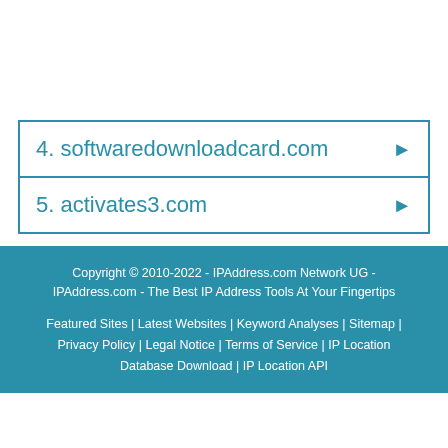4. softwaredownloadcard.com
5. activates3.com
Copyright © 2010-2022 - IPAddress.com Network UG - IPAddress.com - The Best IP Address Tools At Your Fingertips
Featured Sites | Latest Websites | Keyword Analyses | Sitemap | Privacy Policy | Legal Notice | Terms of Service | IP Location Database Download | IP Location API